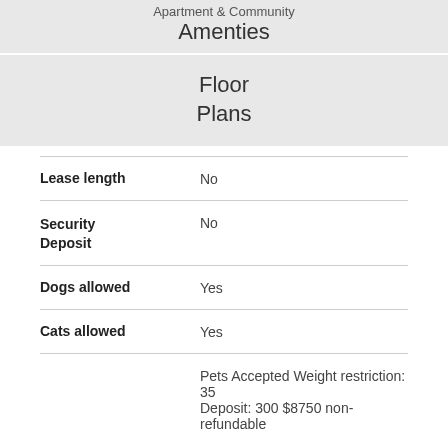Apartment & Community Amenties
Floor Plans
| Field | Value |
| --- | --- |
| Lease length | No |
| Security Deposit | No |
| Dogs allowed | Yes |
| Cats allowed | Yes |
|  | Pets Accepted Weight restriction: 35 Deposit: 300 $8750 non-refundable |